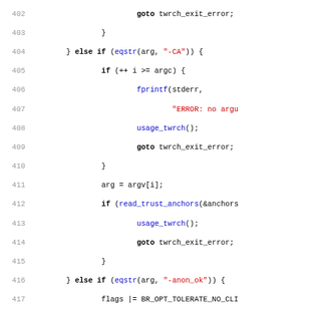[Figure (screenshot): Source code listing in C, lines 402-434, showing if-else blocks parsing command-line arguments for -CA, -anon_ok, -nostaticecdh, -list, and -vmin options, with function calls like eqstr, fprintf, usage_twrch, read_trust_anchors, list_names, and goto statements.]